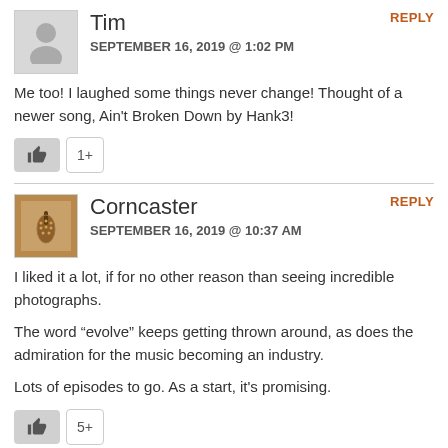Tim
SEPTEMBER 16, 2019 @ 1:02 PM
REPLY
Me too! I laughed some things never change! Thought of a newer song, Ain't Broken Down by Hank3!
1+
Corncaster
SEPTEMBER 16, 2019 @ 10:37 AM
REPLY
I liked it a lot, if for no other reason than seeing incredible photographs.
The word “evolve” keeps getting thrown around, as does the admiration for the music becoming an industry.
Lots of episodes to go. As a start, it's promising.
5+
Scotty J
SEPTEMBER 16, 2019 @ 11:41 AM
REPLY